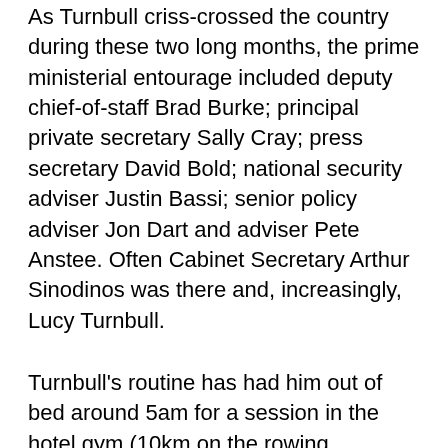As Turnbull criss-crossed the country during these two long months, the prime ministerial entourage included deputy chief-of-staff Brad Burke; principal private secretary Sally Cray; press secretary David Bold; national security adviser Justin Bassi; senior policy adviser Jon Dart and adviser Pete Anstee. Often Cabinet Secretary Arthur Sinodinos was there and, increasingly, Lucy Turnbull.
Turnbull's routine has had him out of bed around 5am for a session in the hotel gym (10km on the rowing machine); conference calls with campaign headquarters and the Coalition leadership; a breakfast of fruit, yoghurt and muesli. He consumes black tea early, followed by green tea as the hours wear on.
Each campaign day usually involved two or three events, including a news conference, before, if interstate, the